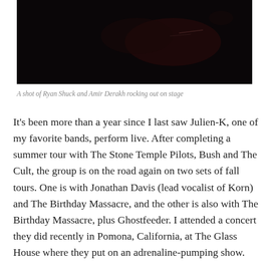[Figure (photo): A dark concert photo showing performers on stage, very low light with a mostly black image and faint silhouettes/light streaks]
A shot of Ryan Shuck and Amir Derakh rocking out on stage
It's been more than a year since I last saw Julien-K, one of my favorite bands, perform live. After completing a summer tour with The Stone Temple Pilots, Bush and The Cult, the group is on the road again on two sets of fall tours. One is with Jonathan Davis (lead vocalist of Korn) and The Birthday Massacre, and the other is also with The Birthday Massacre, plus Ghostfeeder. I attended a concert they did recently in Pomona, California, at The Glass House where they put on an adrenaline-pumping show.